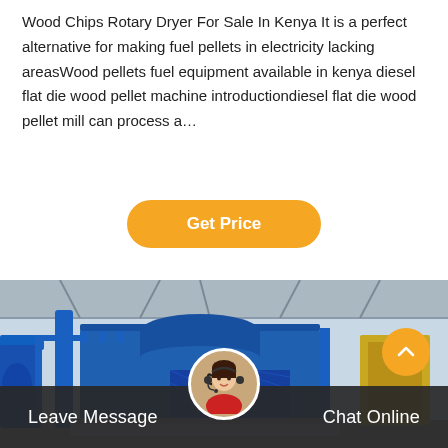Wood Chips Rotary Dryer For Sale In Kenya It is a perfect alternative for making fuel pellets in electricity lacking areasWood pellets fuel equipment available in kenya diesel flat die wood pellet machine introductiondiesel flat die wood pellet mill can process a…
Get Price
[Figure (photo): Large blue industrial machine (rotary dryer or pellet mill) with metal framework and grating, photographed inside a large industrial warehouse or factory building.]
Leave Message
Chat Online